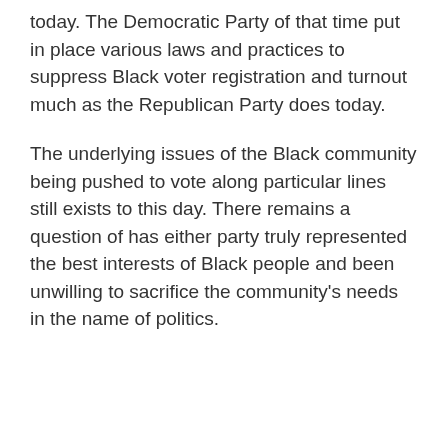today. The Democratic Party of that time put in place various laws and practices to suppress Black voter registration and turnout much as the Republican Party does today.
The underlying issues of the Black community being pushed to vote along particular lines still exists to this day. There remains a question of has either party truly represented the best interests of Black people and been unwilling to sacrifice the community's needs in the name of politics.